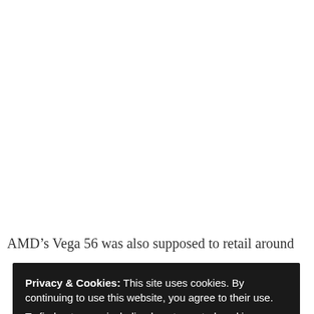AMD’s Vega 56 was also supposed to retail around
Privacy & Cookies: This site uses cookies. By continuing to use this website, you agree to their use.
To find out more, including how to control cookies, see here: Cookie Policy
Close and accept